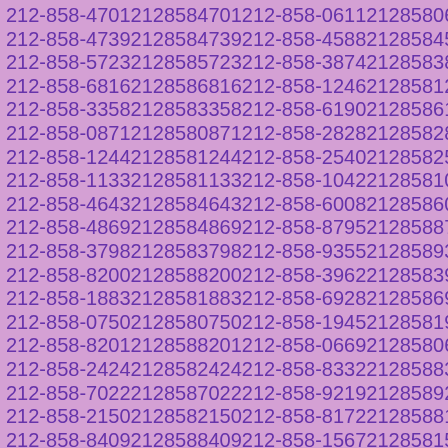212-858-4701 2128584701 212-858-0611 2128580611 212-858-4739 2128584739 212-858-4588 2128584588 212-858-5723 2128585723 212-858-3874 2128583874 212-858-6816 2128586816 212-858-1246 2128581246 212-858-3358 2128583358 212-858-6190 2128586190 212-858-0871 2128580871 212-858-2828 2128582828 212-858-1244 2128581244 212-858-2540 2128582540 212-858-1133 2128581133 212-858-1042 2128581042 212-858-4643 2128584643 212-858-6008 2128586008 212-858-4869 2128584869 212-858-8795 2128588795 212-858-3798 2128583798 212-858-9355 2128589355 212-858-8200 2128588200 212-858-3962 2128583962 212-858-1883 2128581883 212-858-6928 2128586928 212-858-0750 2128580750 212-858-1945 2128581945 212-858-8201 2128588201 212-858-0669 2128580669 212-858-2424 2128582424 212-858-8332 2128588332 212-858-7022 2128587022 212-858-9219 2128589219 212-858-2150 2128582150 212-858-8172 2128588172 212-858-8409 2128588409 212-858-1567 2128581567 212-858-5012 2128585012 212-858-6753 2128586753